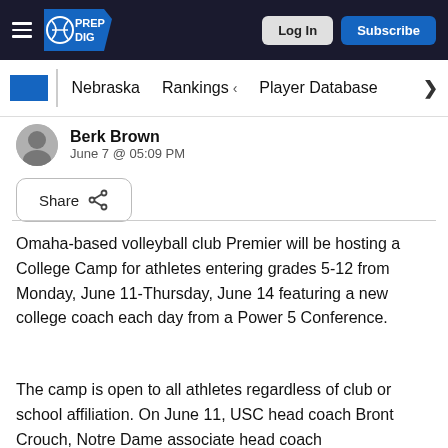Prep Dig — Log In | Subscribe
Nebraska | Rankings | Player Database
Berk Brown
June 7 @ 05:09 PM
Share
Omaha-based volleyball club Premier will be hosting a College Camp for athletes entering grades 5-12 from Monday, June 11-Thursday, June 14 featuring a new college coach each day from a Power 5 Conference.
The camp is open to all athletes regardless of club or school affiliation. On June 11, USC head coach Bront Crouch, Notre Dame associate head coach